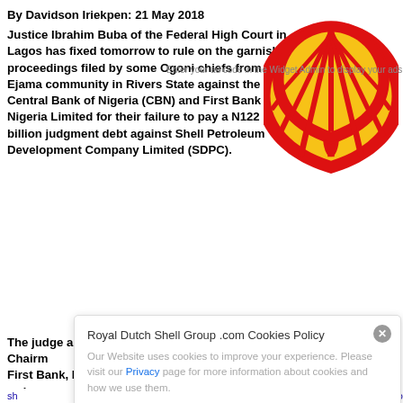By Davidson Iriekpen: 21 May 2018
Justice Ibrahim Buba of the Federal High Court in Lagos has fixed tomorrow to rule on the garnishee proceedings filed by some Ogoni chiefs from Ejama community in Rivers State against the Central Bank of Nigeria (CBN) and First Bank of Nigeria Limited for their failure to pay a N122 billion judgment debt against Shell Petroleum Development Company Limited (SDPC).
[Figure (logo): Shell Petroleum logo - red and yellow shell shape on white background]
Enter your ad code in the Widget Admin to display your ads here
The judge also fixed the same day to rule on whether to jail the Chairman of First Bank, Mrs. Ibukun Awosika, for failing to pay the amount as ordered by a Federal High Court in Owerri, Imo State.
read more
Royal Dutch Shell Group .com Cookies Policy
Our Website uses cookies to improve your experience. Please visit our Privacy page for more information about cookies and how we use them.